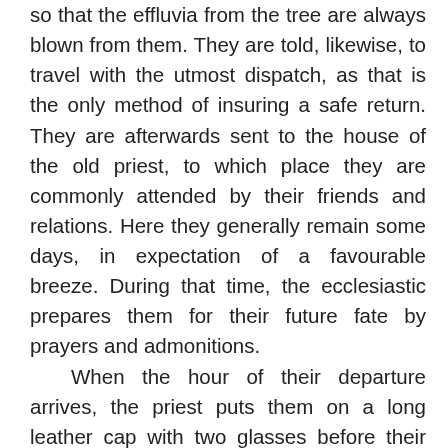so that the effluvia from the tree are always blown from them. They are told, likewise, to travel with the utmost dispatch, as that is the only method of insuring a safe return. They are afterwards sent to the house of the old priest, to which place they are commonly attended by their friends and relations. Here they generally remain some days, in expectation of a favourable breeze. During that time, the ecclesiastic prepares them for their future fate by prayers and admonitions.

When the hour of their departure arrives, the priest puts them on a long leather cap with two glasses before their eyes, which comes down as far as their breast, and also provides them with a pair of leather gloves. They are then conducted by the priest, and their friends and relations...